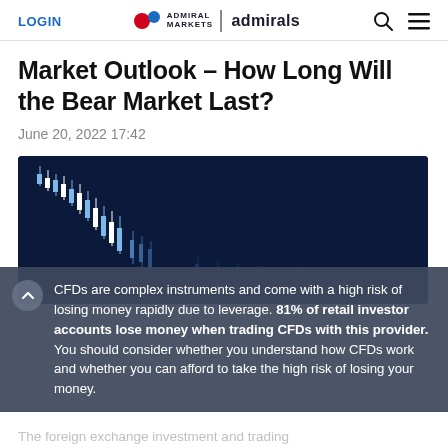LOGIN | ADMIRAL MARKETS admirals
Market Outlook – How Long Will the Bear Market Last?
June 20, 2022 17:42
[Figure (screenshot): Financial candlestick chart showing a downward trend with blue and white candles on a dark navy background.]
CFDs are complex instruments and come with a high risk of losing money rapidly due to leverage. 81% of retail investor accounts lose money when trading CFDs with this provider. You should consider whether you understand how CFDs work and whether you can afford to take the high risk of losing your money.
The foreign exchange investment and trading